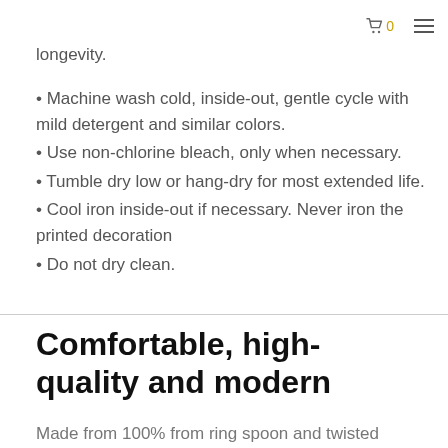0
longevity.
• Machine wash cold, inside-out, gentle cycle with mild detergent and similar colors.
• Use non-chlorine bleach, only when necessary.
• Tumble dry low or hang-dry for most extended life.
• Cool iron inside-out if necessary. Never iron the printed decoration
• Do not dry clean.
Comfortable, high-quality and modern
Made from 100% from ring spoon and twisted cotton (except for the heather colors), lightweight, comfortable and fit.